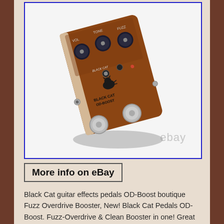[Figure (photo): Black Cat OD-Boost guitar effects pedal with wooden enclosure, three knobs on top, two footswitches, photographed at an angle on white background with blue border frame]
More info on eBay
Black Cat guitar effects pedals OD-Boost boutique Fuzz Overdrive Booster, New! Black Cat Pedals OD-Boost. Fuzz-Overdrive & Clean Booster in one! Great sounding boutique guitar effects pedal. The OD-Boost from Black Cat Pedals is a great